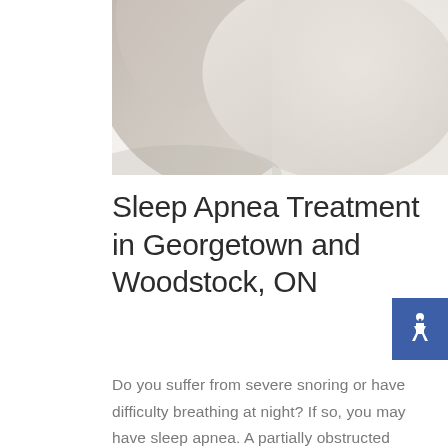[Figure (photo): Close-up photo of white/cream fabric or bedding draped softly, shown from the upper portion cropped]
Sleep Apnea Treatment in Georgetown and Woodstock, ON
[Figure (other): Blue square accessibility badge with wheelchair symbol icon]
Do you suffer from severe snoring or have difficulty breathing at night? If so, you may have sleep apnea. A partially obstructed airway during sleep can result in loud and constant snoring and may affect those around you. In some cases, the interruption of regular breathing patterns and possible stoppage of breathing is very unpleasant to